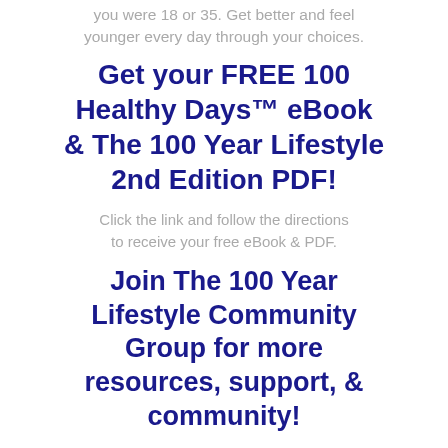you were 18 or 35. Get better and feel younger every day through your choices.
Get your FREE 100 Healthy Days™ eBook & The 100 Year Lifestyle 2nd Edition PDF!
Click the link and follow the directions to receive your free eBook & PDF.
Join The 100 Year Lifestyle Community Group for more resources, support, & community!